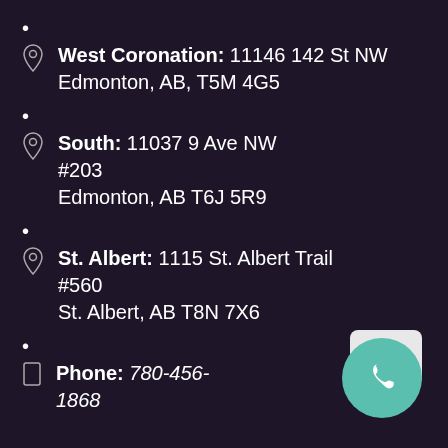West Coronation: 11146 142 St NW Edmonton, AB, T5M 4G5
South: 11037 9 Ave NW #203 Edmonton, AB T6J 5R9
St. Albert: 1115 St. Albert Trail #560 St. Albert, AB T8N 7X6
Phone: 780-456-1868